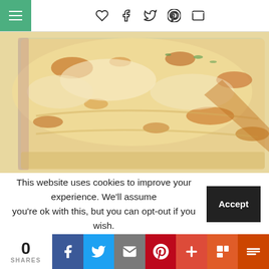Navigation and social share icons header
[Figure (photo): Close-up photo of a baked casserole dish with golden-brown melted cheese on top, in a glass baking dish, viewed from an angle.]
This website uses cookies to improve your experience. We'll assume you're ok with this, but you can opt-out if you wish. Accept
0 SHARES - social share buttons: Facebook, Twitter, Email, Pinterest, Plus, Flipboard, Mix